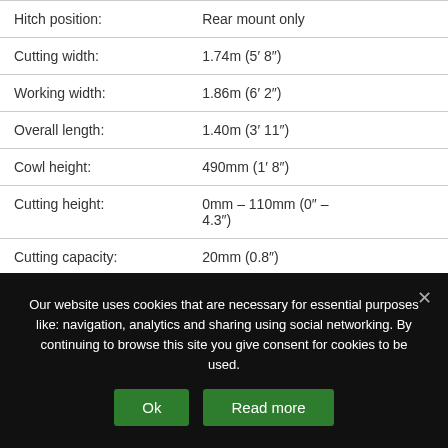| Specification | Value |
| --- | --- |
| Hitch position: | Rear mount only |
| Cutting width: | 1.74m (5′ 8″) |
| Working width: | 1.86m (6′ 2″) |
| Overall length: | 1.40m (3′ 11″) |
| Cowl height: | 490mm (1′ 8″) |
| Cutting height: | 0mm – 110mm (0″ – 4.3″) |
| Cutting capacity: | 20mm (0.8″) |
| Recommended tractor HP: | 35hp (27kW) |
Our website uses cookies that are necessary for essential purposes like: navigation, analytics and sharing using social networking. By continuing to browse this site you give consent for cookies to be used.